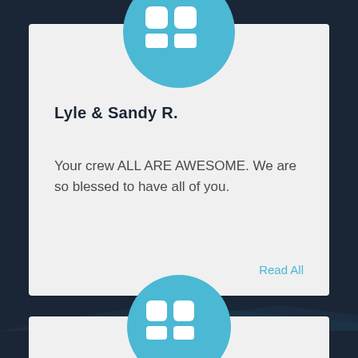[Figure (illustration): Blue circle with white quotation marks icon above testimonial card 1]
Lyle & Sandy R.
Your crew ALL ARE AWESOME. We are so blessed to have all of you.
Read All
[Figure (illustration): Blue circle with white quotation marks icon above testimonial card 2 (partially visible)]